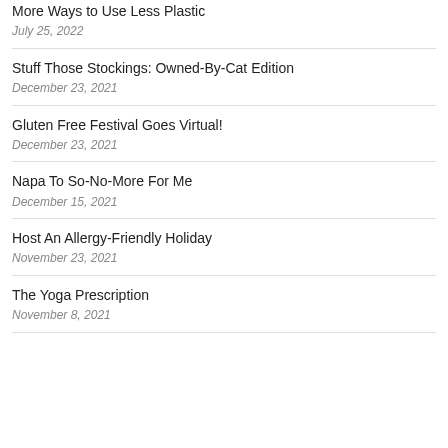More Ways to Use Less Plastic
July 25, 2022
Stuff Those Stockings: Owned-By-Cat Edition
December 23, 2021
Gluten Free Festival Goes Virtual!
December 23, 2021
Napa To So-No-More For Me
December 15, 2021
Host An Allergy-Friendly Holiday
November 23, 2021
The Yoga Prescription
November 8, 2021